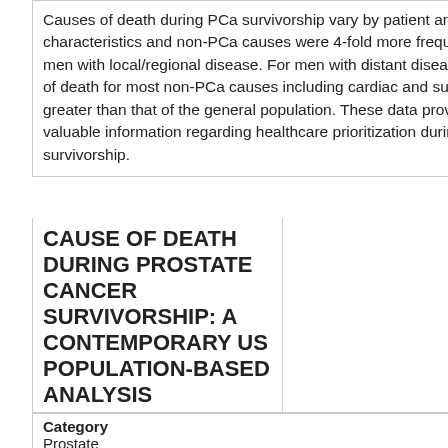Causes of death during PCa survivorship vary by patient and tumor characteristics and non-PCa causes were 4-fold more frequent among men with local/regional disease. For men with distant disease, the risk of death for most non-PCa causes including cardiac and suicide was greater than that of the general population. These data provide valuable information regarding healthcare prioritization during PCa survivorship.
CAUSE OF DEATH DURING PROSTATE CANCER SURVIVORSHIP: A CONTEMPORARY US POPULATION-BASED ANALYSIS
| Category |  |
| --- | --- |
| Prostate |  |